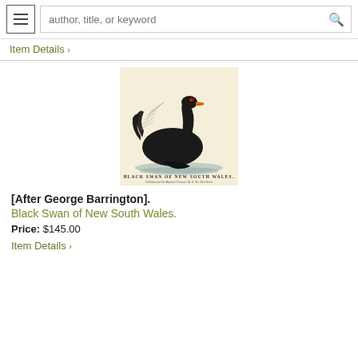author, title, or keyword [search bar with hamburger menu]
Item Details >
[Figure (illustration): Antique engraving of a Black Swan of New South Wales, shown in profile on water with wings slightly raised. The bird is depicted in black with a red beak. Below the image text reads 'BLACK SWAN OF NEW SOUTH WALES.' with a publication line beneath it. The image is on a cream/tan background.]
[After George Barrington].
Black Swan of New South Wales.
Price: $145.00
Item Details >